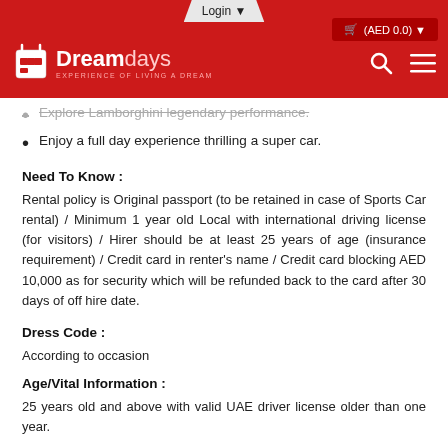Login ▼ | (AED 0.0) | Dreamdays — EXPERIENCE OF LIVING A DREAM
Explore Lamborghini legendary performance.
Enjoy a full day experience thrilling a super car.
Need To Know :
Rental policy is Original passport (to be retained in case of Sports Car rental) / Minimum 1 year old Local with international driving license (for visitors) / Hirer should be at least 25 years of age (insurance requirement) / Credit card in renter's name / Credit card blocking AED 10,000 as for security which will be refunded back to the card after 30 days of off hire date.
Dress Code :
According to occasion
Age/Vital Information :
25 years old and above with valid UAE driver license older than one year.